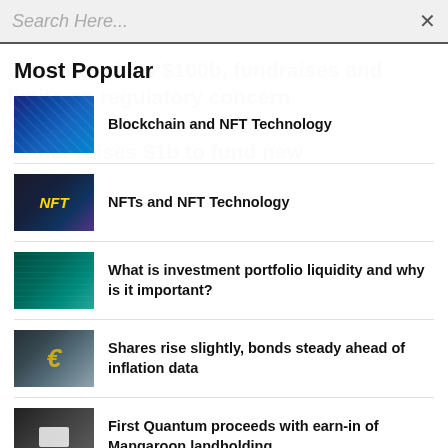Search Here...
Most Popular
Blockchain and NFT Technology
NFTs and NFT Technology
What is investment portfolio liquidity and why is it important?
Shares rise slightly, bonds steady ahead of inflation data
First Quantum proceeds with earn-in of Mangaroon landholding
Gold rises as dollar down from 20-year high